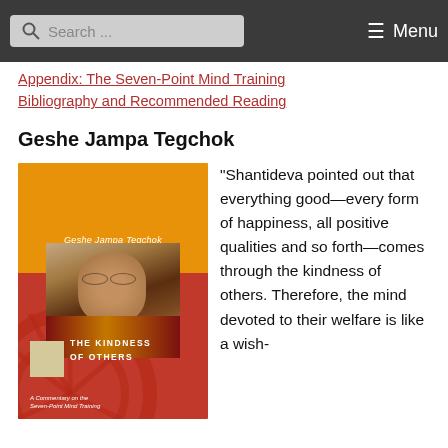Search ... Menu
Appendix: The Seven-Point Mind Training
Bibliography and Recommended Reading
Geshe Jampa Tegchok
[Figure (photo): Book cover of 'The Kindness of Others' by Geshe Jampa Tegchok, with an orange top and red bottom, featuring a photo of the author (a Tibetan Buddhist monk in maroon and yellow robes), a beige box, and subtitle 'A Commentary on the Seven-Point Mind Training'.]
"Shantideva pointed out that everything good—every form of happiness, all positive qualities and so forth—comes through the kindness of others. Therefore, the mind devoted to their welfare is like a wish-